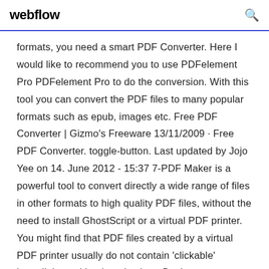webflow
formats, you need a smart PDF Converter. Here I would like to recommend you to use PDFelement Pro PDFelement Pro to do the conversion. With this tool you can convert the PDF files to many popular formats such as epub, images etc. Free PDF Converter | Gizmo's Freeware 13/11/2009 · Free PDF Converter. toggle-button. Last updated by Jojo Yee on 14. June 2012 - 15:37 7-PDF Maker is a powerful tool to convert directly a wide range of files in other formats to high quality PDF files, without the need to install GhostScript or a virtual PDF printer. You might find that PDF files created by a virtual PDF printer usually do not contain 'clickable' hyperlinks and bookmarks, but eBook